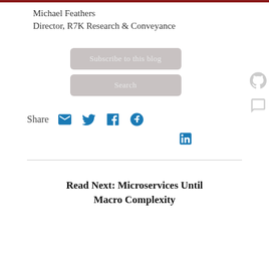Michael Feathers
Director, R7K Research & Conveyance
[Figure (screenshot): Subscribe to this blog button (grey rounded rectangle)]
[Figure (screenshot): Search button (grey rounded rectangle)]
Share
[Figure (infographic): Social share icons: email, twitter, facebook, google+, linkedin]
Read Next: Microservices Until Macro Complexity